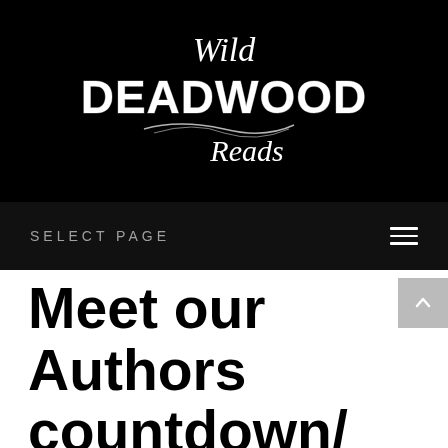[Figure (logo): Wild Deadwood Reads logo — decorative script 'Wild' above bold western-style 'DEADWOOD' text, with cursive 'Reads' below, all in white/silver on black background]
SELECT PAGE
Meet our Authors countdown/ Teaser Meet f